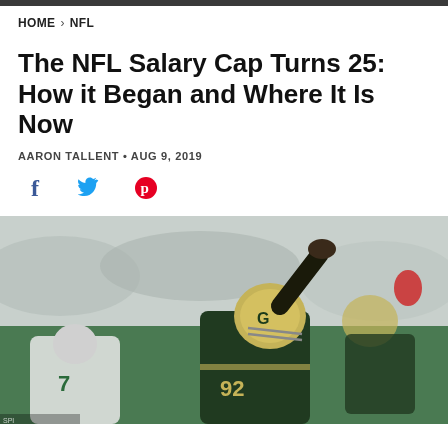HOME > NFL
The NFL Salary Cap Turns 25: How it Began and Where It Is Now
AARON TALLENT • AUG 9, 2019
[Figure (other): Social share icons: Facebook (f), Twitter (bird), Pinterest (P)]
[Figure (photo): Green Bay Packers player #92 in yellow helmet with hand raised at line of scrimmage, crowd in background]